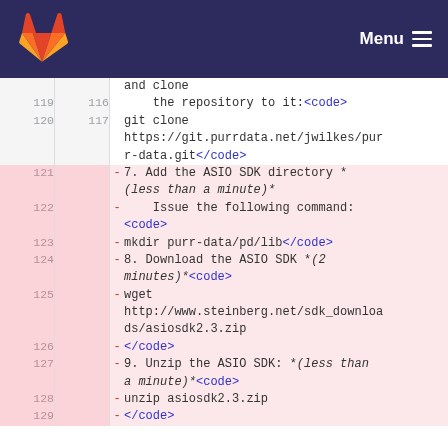GitLab — Menu
and clone
    the repository to it:<code>
git clone https://git.purrdata.net/jwilkes/purr-data.git</code>
- 7. Add the ASIO SDK directory * (less than a minute)*
- Issue the following command: <code>
- mkdir purr-data/pd/lib</code>
- 8. Download the ASIO SDK *(2 minutes)*<code>
- wget http://www.steinberg.net/sdk_downloads/asiosdk2.3.zip
- </code>
- 9. Unzip the ASIO SDK: *(less than a minute)*<code>
- unzip asiosdk2.3.zip
- </code>